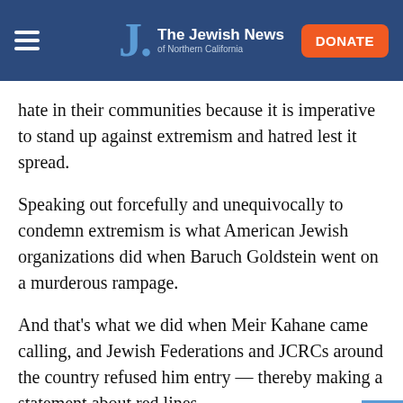The Jewish News of Northern California
hate in their communities because it is imperative to stand up against extremism and hatred lest it spread.
Speaking out forcefully and unequivocally to condemn extremism is what American Jewish organizations did when Baruch Goldstein went on a murderous rampage.
And that's what we did when Meir Kahane came calling, and Jewish Federations and JCRCs around the country refused him entry — thereby making a statement about red lines.